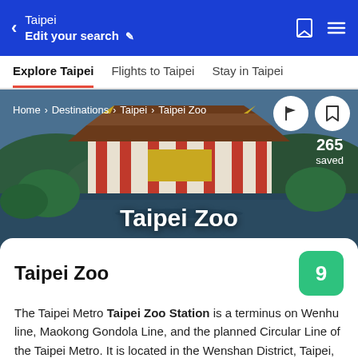Taipei / Edit your search
Explore Taipei | Flights to Taipei | Stay in Taipei
[Figure (photo): Hero image of a Taiwanese landmark/building with red columns, water reflection, and greenery. Breadcrumb trail: Home > Destinations > Taipei > Taipei Zoo. Action buttons and 265 saved count visible.]
Taipei Zoo
Taipei Zoo
The Taipei Metro Taipei Zoo Station is a terminus on Wenhu line, Maokong Gondola Line, and the planned Circular Line of the Taipei Metro. It is located in the Wenshan District, Taipei, Taiwan.
This three-level, elevated station features two side